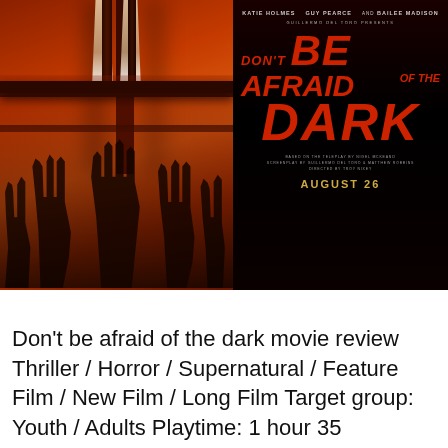[Figure (photo): Movie poster for 'Don't Be Afraid of the Dark'. Left half shows a dark red-orange staircase scene with large shadow hands reaching upward and a child's legs visible at the top. Right half shows the film title in large red text on black background. Cast: Katie Holmes, Guy Pearce, and Bailee Madison. Guillermo Del Toro Presents. Based on the teleplay by Nigel McKeand, Screenplay by Guillermo Del Toro & Matthew Robbins, Directed by Troy Nixey. Release date: August 26.]
Don't be afraid of the dark movie review Thriller / Horror / Supernatural / Feature Film / New Film / Long Film Target group: Youth / Adults Playtime: 1 hour 35